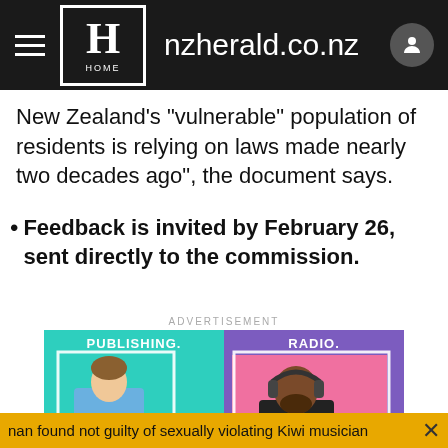nzherald.co.nz
New Zealand's "vulnerable" population of residents is relying on laws made nearly two decades ago", the document says.
Feedback is invited by February 26, sent directly to the commission.
ADVERTISEMENT
[Figure (photo): Advertisement banner showing two panels: left panel with teal background labelled PUBLISHING. showing a man in blue shirt reading a tablet with coffee mug; right panel with purple background labelled RADIO. showing a man with headphones; bottom strip showing DIGITAL. label on teal background with an up arrow icon]
nan found not guilty of sexually violating Kiwi musician